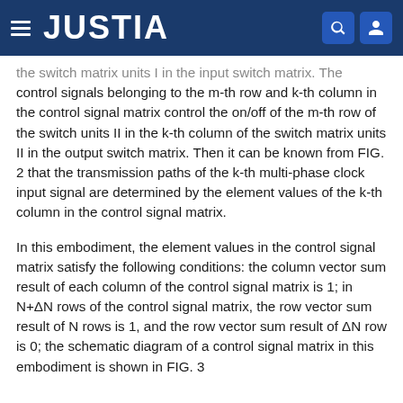JUSTIA
the switch matrix units I in the input switch matrix. The control signals belonging to the m-th row and k-th column in the control signal matrix control the on/off of the m-th row of the switch units II in the k-th column of the switch matrix units II in the output switch matrix. Then it can be known from FIG. 2 that the transmission paths of the k-th multi-phase clock input signal are determined by the element values of the k-th column in the control signal matrix.
In this embodiment, the element values in the control signal matrix satisfy the following conditions: the column vector sum result of each column of the control signal matrix is 1; in N+ΔN rows of the control signal matrix, the row vector sum result of N rows is 1, and the row vector sum result of ΔN row is 0; the schematic diagram of a control signal matrix in this embodiment is shown in FIG. 3